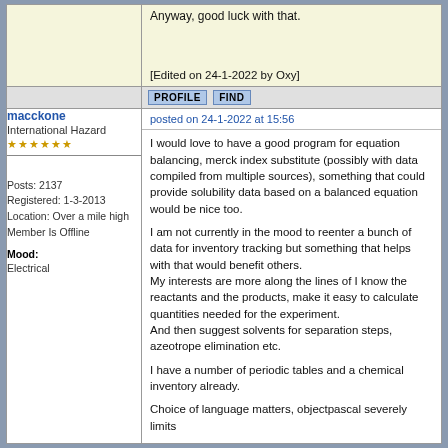Anyway, good luck with that.
[Edited on 24-1-2022 by Oxy]
PROFILE   FIND
macckone
International Hazard
★★★★★
Posts: 2137
Registered: 1-3-2013
Location: Over a mile high
Member Is Offline
Mood: Electrical
posted on 24-1-2022 at 15:56
I would love to have a good program for equation balancing, merck index substitute (possibly with data compiled from multiple sources), something that could provide solubility data based on a balanced equation would be nice too.

I am not currently in the mood to reenter a bunch of data for inventory tracking but something that helps with that would benefit others.
My interests are more along the lines of I know the reactants and the products, make it easy to calculate quantities needed for the experiment.
And then suggest solvents for separation steps, azeotrope elimination etc.

I have a number of periodic tables and a chemical inventory already.

Choice of language matters, objectpascal severely limits